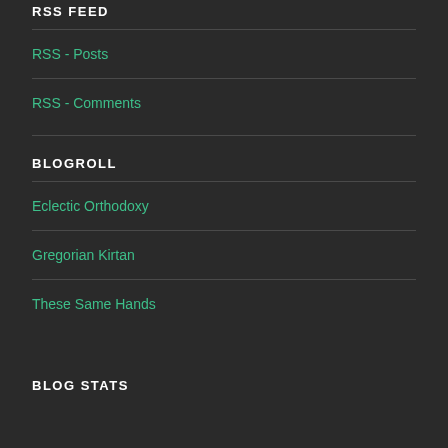RSS FEED
RSS - Posts
RSS - Comments
BLOGROLL
Eclectic Orthodoxy
Gregorian Kirtan
These Same Hands
BLOG STATS